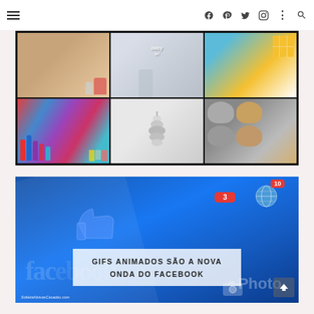Navigation header with hamburger menu and social icons (Facebook, Pinterest, Twitter, Instagram, more, search)
[Figure (photo): Collage of 6 DIY/craft photos in a 3x2 grid with black border: top row shows craft supplies, a hand holding a small bottle with 'baby tri' text, and colorful ice cube trays; bottom row shows colorful nail polish bottles with keys, a white pine cone ornament hanging, and cookies/baked goods in a muffin tin.]
[Figure (screenshot): Screenshot of the Facebook app on a tablet/phone, showing the blue Facebook interface at an angle with notification badges (3 and 10) visible and thumbs-up like icon. Title overlay reads 'GIFS ANIMADOS SÃO A NOVA ONDA DO FACEBOOK'. Watermark: SolteiraNoivasCasadas.com]
GIFS ANIMADOS SÃO A NOVA ONDA DO FACEBOOK